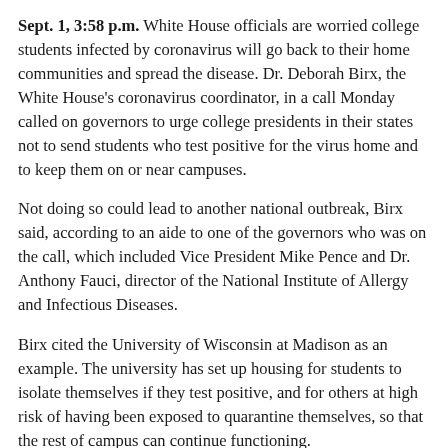Sept. 1, 3:58 p.m. White House officials are worried college students infected by coronavirus will go back to their home communities and spread the disease. Dr. Deborah Birx, the White House's coronavirus coordinator, in a call Monday called on governors to urge college presidents in their states not to send students who test positive for the virus home and to keep them on or near campuses.
Not doing so could lead to another national outbreak, Birx said, according to an aide to one of the governors who was on the call, which included Vice President Mike Pence and Dr. Anthony Fauci, director of the National Institute of Allergy and Infectious Diseases.
Birx cited the University of Wisconsin at Madison as an example. The university has set up housing for students to isolate themselves if they test positive, and for others at high risk of having been exposed to quarantine themselves, so that the rest of campus can continue functioning.
The call was first reported by The Daily Beast. The site quoted Birx as having said, “Sending these individuals back home in their asymptomatic state to spread the virus in their hometown or among their vulnerable households could really recreate what we experienced over the June time frame in the South. So I think